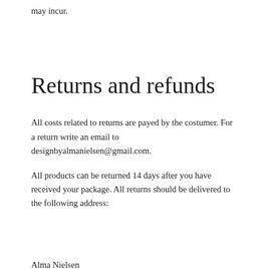may incur.
Returns and refunds
All costs related to returns are payed by the costumer. For a return write an email to designbyalmanielsen@gmail.com.
All products can be returned 14 days after you have received your package. All returns should be delivered to the following address:
Alma Nielsen